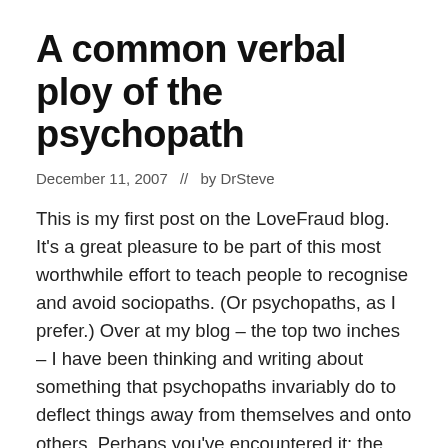A common verbal ploy of the psychopath
December 11, 2007  //  by DrSteve
This is my first post on the LoveFraud blog. It's a great pleasure to be part of this most worthwhile effort to teach people to recognise and avoid sociopaths. (Or psychopaths, as I prefer.) Over at my blog – the top two inches – I have been thinking and writing about something that psychopaths invariably do to deflect things away from themselves and onto others. Perhaps you've encountered it: the